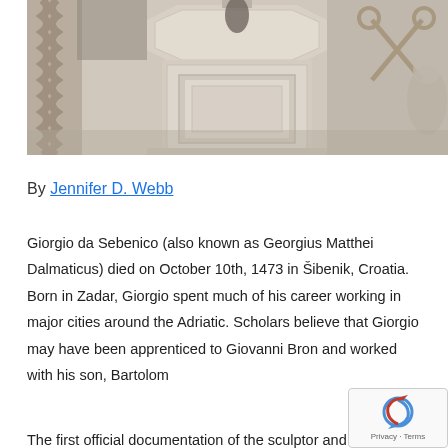[Figure (photo): Close-up photograph of a stone architectural sculpture or relief, showing carved decorative elements including rope molding, a rectangular pedestal or plinth, and carved figures or reliefs in the background]
By Jennifer D. Webb
Giorgio da Sebenico (also known as Georgius Matthei Dalmaticus) died on October 10th, 1473 in Šibenik, Croatia. Born in Zadar, Giorgio spent much of his career working in major cities around the Adriatic. Scholars believe that Giorgio may have been apprenticed to Giovanni Bron and worked with his son, Bartolom
The first official documentation of the sculptor and